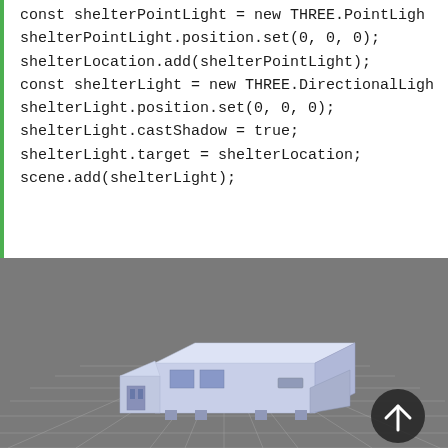const shelterPointLight = new THREE.PointLight
shelterPointLight.position.set(0, 0, 0);
shelterLocation.add(shelterPointLight);
const shelterLight = new THREE.DirectionalLigh
shelterLight.position.set(0, 0, 0);
shelterLight.castShadow = true;
shelterLight.target = shelterLocation;
scene.add(shelterLight);
[Figure (screenshot): 3D rendered scene showing a sci-fi shelter/building model rendered in light lavender/white on a dark gray grid ground plane. A circular scroll-up button with an upward arrow is visible in the bottom-right corner of the image.]